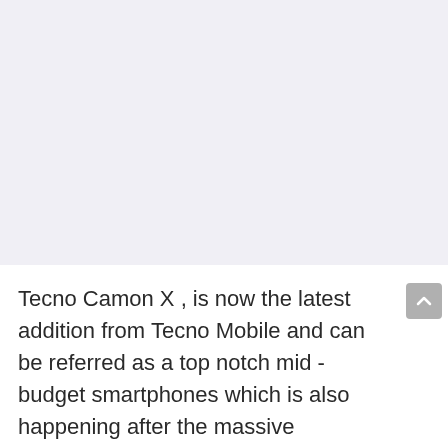[Figure (other): Light purple/grey advertisement or banner placeholder area]
Tecno Camon X , is now the latest addition from Tecno Mobile and can be referred as a top notch mid -budget smartphones which is also happening after the massive successful launch of Tecno Phantom 8, Tecno i7 , Tecno Wx4 and Camon CX mobile phones in Nigeria.